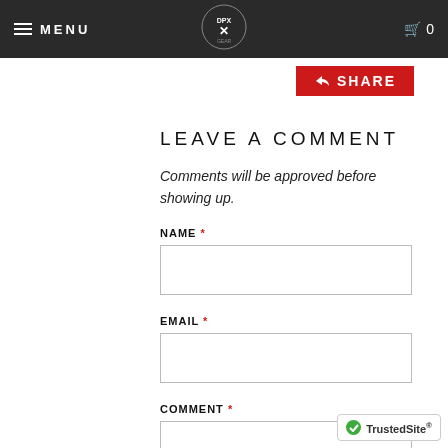MENU | DPX GEAR logo | cart 0
SHARE
LEAVE A COMMENT
Comments will be approved before showing up.
NAME *
EMAIL *
COMMENT *
[Figure (logo): TrustedSite badge with green checkmark]